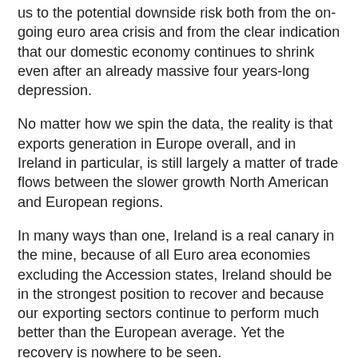us to the potential downside risk both from the on-going euro area crisis and from the clear indication that our domestic economy continues to shrink even after an already massive four years-long depression.
No matter how we spin the data, the reality is that exports generation in Europe overall, and in Ireland in particular, is still largely a matter of trade flows between the slower growth North American and European regions.
In many ways than one, Ireland is a real canary in the mine, because of all Euro area economies excluding the Accession states, Ireland should be in the strongest position to recover and because our exporting sectors continue to perform much better than the European average. Yet the recovery is nowhere to be seen.
Instead, the growth risks manifested in significant slowdown in our external trade activity and in overall manufacturing and services sectors are now coinciding with the euro entering the terminal stage of the crisis.